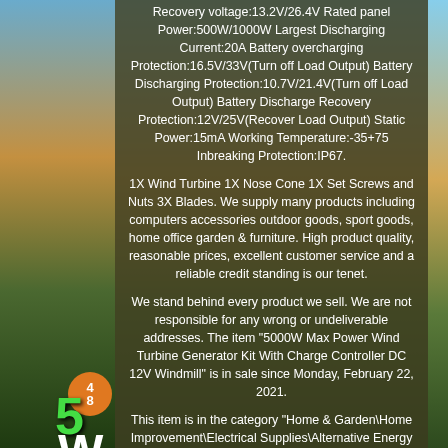[Figure (photo): Background photo of wind turbines in a landscape at sunset with sky, hills, and wind turbines visible on the left side of the image.]
Recovery voltage:13.2V/26.4V Rated panel Power:500W/1000W Largest Discharging Current:20A Battery overcharging Protection:16.5V/33V(Turn off Load Output) Battery Discharging Protection:10.7V/21.4V(Turn off Load Output) Battery Discharge Recovery Protection:12V/25V(Recover Load Output) Static Power:15mA Working Temperature:-35+75 Inbreaking Protection:IP67.
1X Wind Turbine 1X Nose Cone 1X Set Screws and Nuts 3X Blades. We supply many products including computers accessories outdoor goods, sport goods, home office garden & furniture. High product quality, reasonable prices, excellent customer service and a reliable credit standing is our tenet.
We stand behind every product we sell. We are not responsible for any wrong or undeliverable addresses. The item "5000W Max Power Wind Turbine Generator Kit With Charge Controller DC 12V Windmill" is in sale since Monday, February 22, 2021.
This item is in the category "Home & Garden\Home Improvement\Electrical Supplies\Alternative Energy Supplies\Wind Power Supplies\Wind Turbines & Kits".